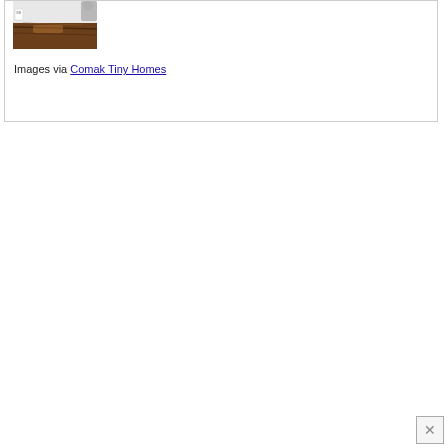[Figure (photo): Interior photo of a tiny home kitchen showing a wooden countertop/table surface made of live-edge walnut wood, with white walls, an electrical outlet visible, and a person partially visible in the upper right corner.]
Images via Comak Tiny Homes